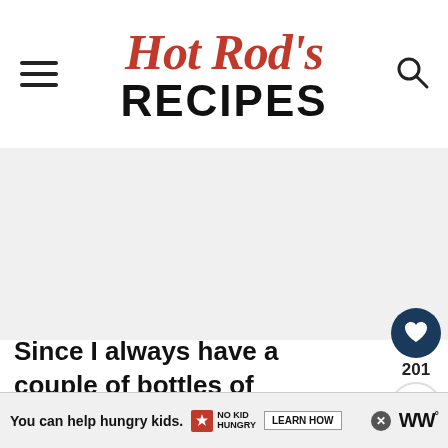Hot Rod's RECIPES
[Figure (other): Large advertisement/image placeholder area (gray background)]
Since I always have a couple of bottles of Frank's RedHot Sauce in the refrigerator (both original cayenne pepper sauce and buffalo wings s...
[Figure (other): What's Next promo: Copycat McDonald's...]
[Figure (other): Bottom ad banner: You can help hungry kids. No Kid Hungry. LEARN HOW.]